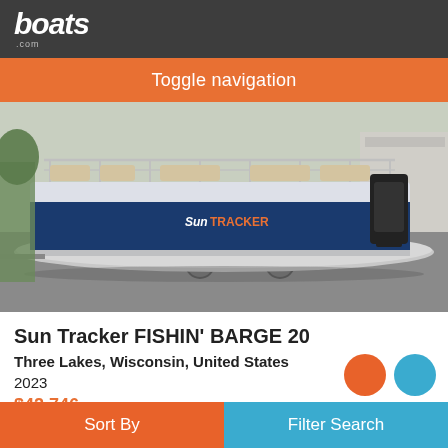boats.com
Toggle navigation
[Figure (photo): A blue and silver Sun Tracker pontoon boat on a trailer parked on a paved lot. The boat has a navy blue hull with 'Sun Tracker' branding, chrome railings, beige seating, and a black outboard motor on the right side.]
Sun Tracker FISHIN' BARGE 20
Three Lakes, Wisconsin, United States
2023
$42,746
Sort By    Filter Search